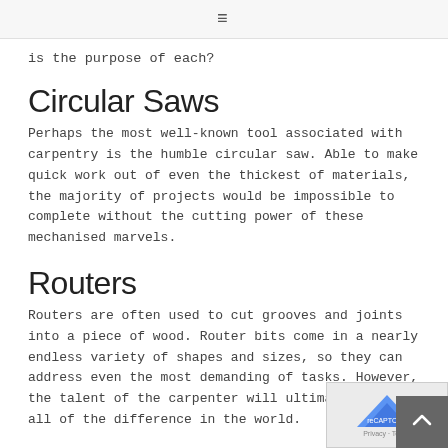≡
is the purpose of each?
Circular Saws
Perhaps the most well-known tool associated with carpentry is the humble circular saw. Able to make quick work out of even the thickest of materials, the majority of projects would be impossible to complete without the cutting power of these mechanised marvels.
Routers
Routers are often used to cut grooves and joints into a piece of wood. Router bits come in a nearly endless variety of shapes and sizes, so they can address even the most demanding of tasks. However, the talent of the carpenter will ultimately make all of the difference in the world.